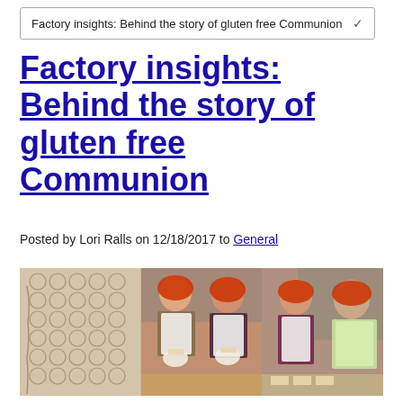Factory insights: Behind the story of gluten free Communion
Factory insights: Behind the story of gluten free Communion
Posted by Lori Ralls on 12/18/2017 to General
[Figure (photo): Three-panel photo strip: left panel shows rows of round gluten-free communion wafers on a baking tray; middle panel shows two women wearing red hair nets and white aprons holding up wafers and smiling; right panel shows a young woman and older man wearing red hair nets smiling in a factory setting.]